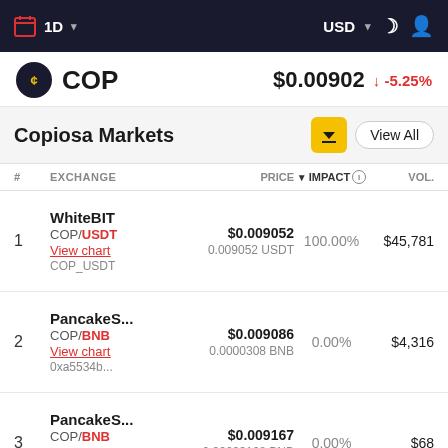1D | USD
COP $0.00902 -5.25%
Copiosa Markets
| # | EXCHANGE | PRICE | IMPACT | VOL. |
| --- | --- | --- | --- | --- |
| 1 | WhiteBIT
COP/USDT
View chart
COP_USDT | $0.009052
0.009052 USDT | 100.00% | $45,781 |
| 2 | PancakeS...
COP/BNB
View chart
0xa5534b... | $0.009086
0.0000308 BNB | 0.00% | $4,316 |
| 3 | PancakeS...
COP/BNB
View chart
0x058e19... | $0.009167
0.00003108 BNB | 0.00% | $68 |